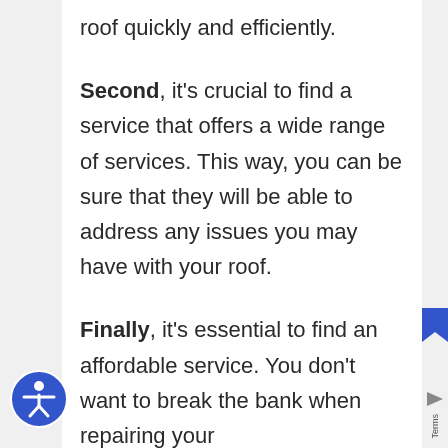roof quickly and efficiently.
Second, it's crucial to find a service that offers a wide range of services. This way, you can be sure that they will be able to address any issues you may have with your roof.
Finally, it's essential to find an affordable service. You don't want to break the bank when repairing your